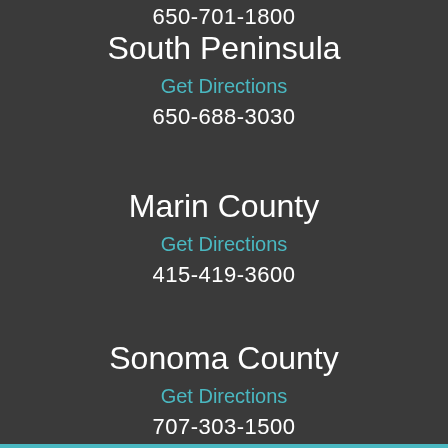650-701-1800
South Peninsula
Get Directions
650-688-3030
Marin County
Get Directions
415-419-3600
Sonoma County
Get Directions
707-303-1500